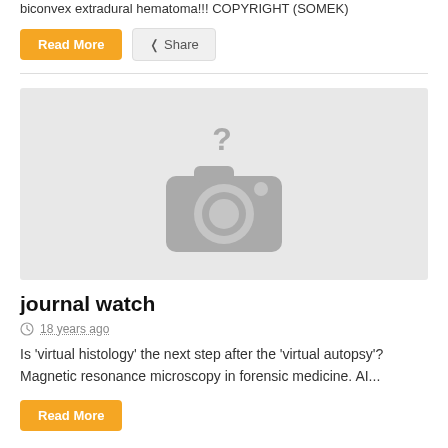biconvex extradural hematoma!!! COPYRIGHT (SOMEK)
Read More | Share
[Figure (photo): Placeholder image with a camera icon and question mark on a light grey background]
journal watch
18 years ago
Is 'virtual histology' the next step after the 'virtual autopsy'? Magnetic resonance microscopy in forensic medicine. AI...